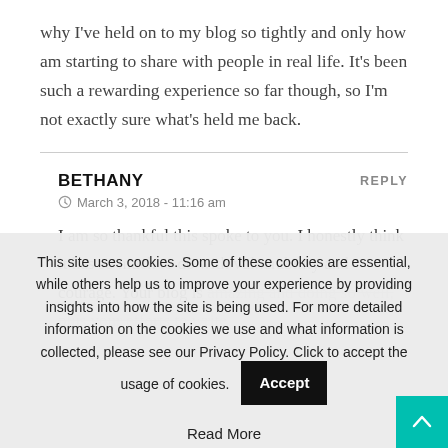why I've held on to my blog so tightly and only how am starting to share with people in real life. It's been such a rewarding experience so far though, so I'm not exactly sure what's held me back.
BETHANY
March 3, 2018 - 11:16 am
I am so thankful this spoke to you. I honestly think it has so much to do with vulnerability and courage. Your blog is amazing and doing so well, plus your efforts to write
This site uses cookies. Some of these cookies are essential, while others help us to improve your experience by providing insights into how the site is being used. For more detailed information on the cookies we use and what information is collected, please see our Privacy Policy. Click to accept the usage of cookies.
Read More